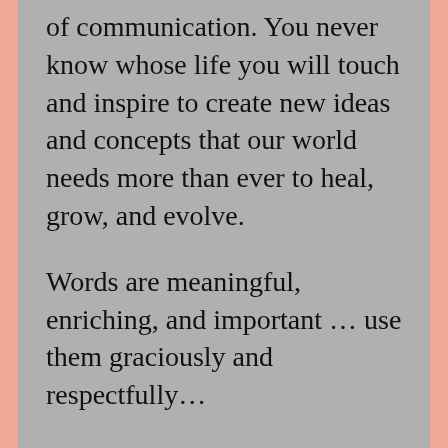of communication. You never know whose life you will touch and inspire to create new ideas and concepts that our world needs more than ever to heal, grow, and evolve.
Words are meaningful, enriching, and important … use them graciously and respectfully…
Deborah A. Bowman
Share this:
Twitter Facebook Pinterest LinkedIn